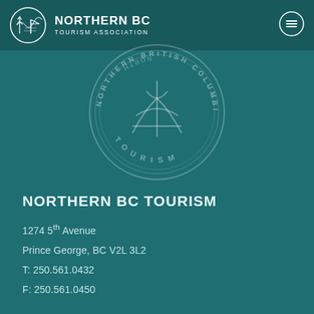[Figure (logo): Northern BC Tourism Association header logo with tree/mountain icon and organization name]
[Figure (logo): Northern British Columbia Tourism Association circular seal/stamp logo in watermark style]
NORTHERN BC TOURISM
1274 5th Avenue
Prince George, BC V2L 3L2
T: 250.561.0432
F: 250.561.0450